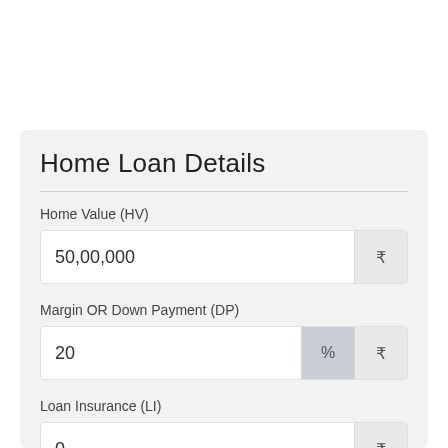Home Loan Details
Home Value (HV)
50,00,000 ₹
Margin OR Down Payment (DP)
20 % ₹
Loan Insurance (LI)
0 ₹
Loan Amount (HV-plus DP)